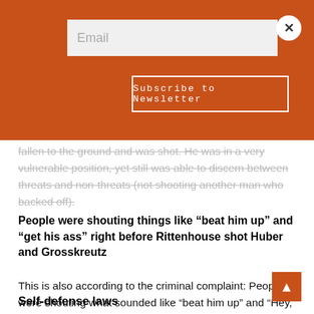[Figure (screenshot): Orange newsletter subscription overlay with email input field, Subscribe to Newsletter button, and X close button]
fallen to the ground and was shot. He was in a very vulnerable position, yet still was able to discern between threats and non-threats (not shooting another man who backed off).
People were shouting things like “beat him up” and “get his ass” right before Rittenhouse shot Huber and Grosskreutz
This is also according to the criminal complaint: People were shouting what sounded like “beat him up” and “Hey, he shot him” and “Get him! Get that dude.” Another man had run toward Rittenhouse, swung at him, and made contact – he knocked his hat off. “Get his ass!” someone shouted.
Self-defense laws